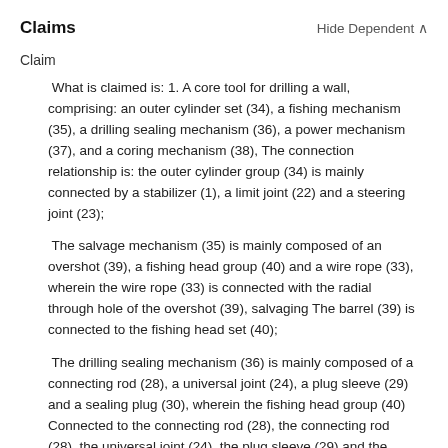Claims    Hide Dependent ∧
Claim
What is claimed is: 1. A core tool for drilling a wall, comprising: an outer cylinder set (34), a fishing mechanism (35), a drilling sealing mechanism (36), a power mechanism (37), and a coring mechanism (38), The connection relationship is: the outer cylinder group (34) is mainly connected by a stabilizer (1), a limit joint (22) and a steering joint (23);
The salvage mechanism (35) is mainly composed of an overshot (39), a fishing head group (40) and a wire rope (33), wherein the wire rope (33) is connected with the radial through hole of the overshot (39), salvaging The barrel (39) is connected to the fishing head set (40);
The drilling sealing mechanism (36) is mainly composed of a connecting rod (28), a universal joint (24), a plug sleeve (29) and a sealing plug (30), wherein the fishing head group (40) Connected to the connecting rod (28), the connecting rod (28), the universal joint (24), the plug sleeve (29) and the sealing head are connected in sequence; the power mechanism (37) is mainly composed of a